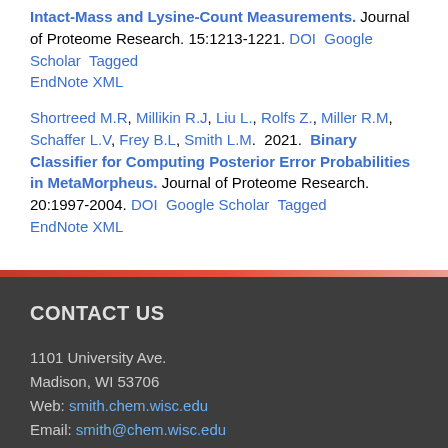Intact-Mass and Lysine-Count Measurements. Journal of Proteome Research. 15:1213-1221. DOI  Google Scholar  Tagged  EndNote XML
Shortreed M.R, Millikin R.J, Liu L., Rolfs Z., Miller R.M, Schaffer L.V, Frey B.L, Smith L.M.  2021.  Binary Classifier for Computing Posterior Error Probabilities in MetaMorpheus. Journal of Proteome Research. 20:1997-2004. DOI  Google Scholar  Tagged  EndNote XML
CONTACT US
1101 University Ave.
Madison, WI 53706
Web: smith.chem.wisc.edu
Email: smith@chem.wisc.edu